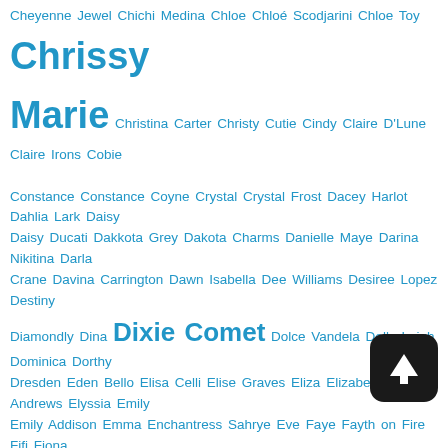Cheyenne Jewel Chichi Medina Chloe Chloé Scodjarini Chloe Toy Chrissy Marie Christina Carter Christy Cutie Cindy Claire D'Lune Claire Irons Cobie Constance Constance Coyne Crystal Crystal Frost Dacey Harlot Dahlia Lark Daisy Daisy Ducati Dakkota Grey Dakota Charms Danielle Maye Darina Nikitina Darla Crane Davina Carrington Dawn Isabella Dee Williams Desiree Lopez Destiny Diamondly Dina Dixie Comet Dolce Vandela Dolly Leigh Dominica Dorthy Dresden Eden Bello Elisa Celli Elise Graves Eliza Elizabeth Andrews Elyssia Emily Emily Addison Emma Enchantress Sahrye Eve Faye Fayth on Fire Fifi Fiona Sinclair Freshie Juice Freya Rose Garnet Rose Genevieve Georgie Gia Love Gigi Gigi Lynn Gina Gmoras Goddess Nika Goldie Blair Green Eyes Gypsy Bae Hannah Hannah Claydon Hannah Perez Hannah Shaw Harmony Wonder Hazel Heiwa Helena Holle Holly Kiss Honey Dew Honey Lemon Honour May Illustrious Rogue Imogen Irene Silver Ivan Boulder Ivi Rose Ivory Ivory Soles Ivy Ivy Blonde Izzebella Robbins Izzy Jackie Jupiter Jacky Fae-Lyn Jade Jae Lynn Jamie Knotts Jane Janice Wolfe Jasmine Jac Jasmine Mendez Jasmine Sinclair Jasmine St
[Figure (illustration): A dark rounded square button with an upward-pointing arrow icon (scroll to top button)]